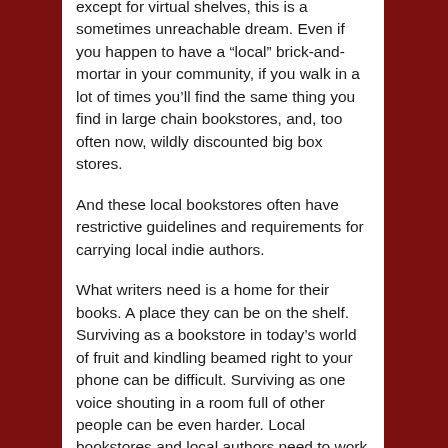except for virtual shelves, this is a sometimes unreachable dream. Even if you happen to have a “local” brick-and-mortar in your community, if you walk in a lot of times you’ll find the same thing you find in large chain bookstores, and, too often now, wildly discounted big box stores.
And these local bookstores often have restrictive guidelines and requirements for carrying local indie authors.
What writers need is a home for their books. A place they can be on the shelf. Surviving as a bookstore in today’s world of fruit and kindling beamed right to your phone can be difficult. Surviving as one voice shouting in a room full of other people can be even harder. Local bookstores and local authors need to work together to accomplish what they both need: more local authors willing to sell their books on consignment instead of expecting local bookstores to order them along with James Patterson’s latest—and more stores willing to give local authors a